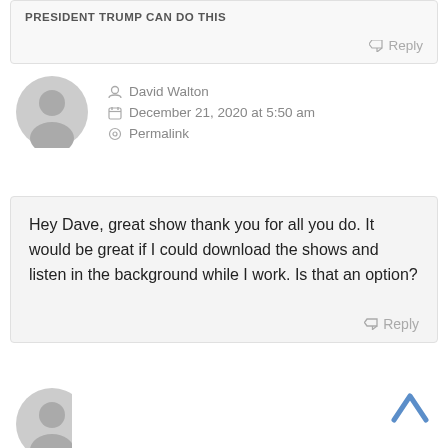PRESIDENT TRUMP CAN DO THIS
Reply
[Figure (illustration): Gray default user avatar circle icon]
David Walton
December 21, 2020 at 5:50 am
Permalink
Hey Dave, great show thank you for all you do. It would be great if I could download the shows and listen in the background while I work. Is that an option?
Reply
[Figure (illustration): Gray default user avatar circle icon (partial, bottom)]
[Figure (illustration): Blue up/back-to-top chevron arrow]